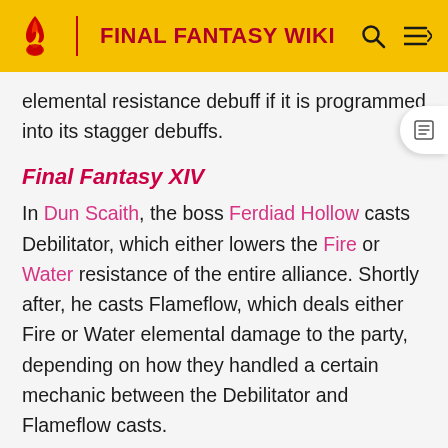FINAL FANTASY WIKI
elemental resistance debuff if it is programmed into its stagger debuffs.
Final Fantasy XIV
In Dun Scaith, the boss Ferdiad Hollow casts Debilitator, which either lowers the Fire or Water resistance of the entire alliance. Shortly after, he casts Flameflow, which deals either Fire or Water elemental damage to the party, depending on how they handled a certain mechanic between the Debilitator and Flameflow casts.
Final Fantasy Tactics
The status ailment Oil doubles fire damage on the afflicted target. It doesn't work in original release.